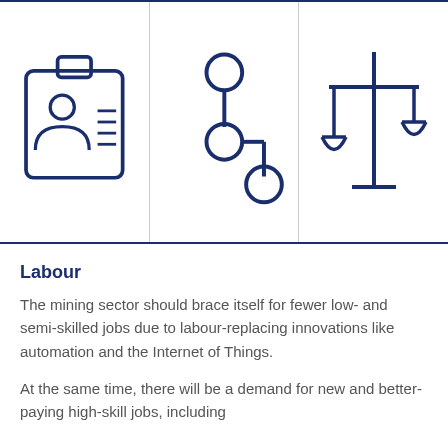[Figure (illustration): Three icons in a row separated by vertical lines: a ID badge/card icon with a person silhouette and lines, a network/hierarchy diagram icon with circles connected by lines, and a partial scales of justice icon.]
Labour
The mining sector should brace itself for fewer low- and semi-skilled jobs due to labour-replacing innovations like automation and the Internet of Things.
At the same time, there will be a demand for new and better-paying high-skill jobs, including